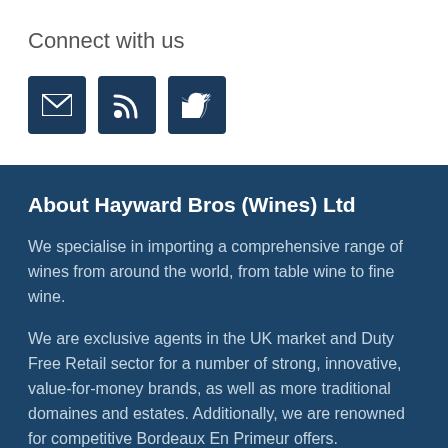Connect with us
[Figure (illustration): Three dark blue square icon buttons: email envelope icon, RSS feed icon, Twitter bird icon]
About Hayward Bros (Wines) Ltd
We specialise in importing a comprehensive range of wines from around the world, from table wine to fine wine.
We are exclusive agents in the UK market and Duty Free Retail sector for a number of strong, innovative, value-for-money brands, as well as more traditional domaines and estates. Additionally, we are renowned for competitive Bordeaux En Primeur offers.